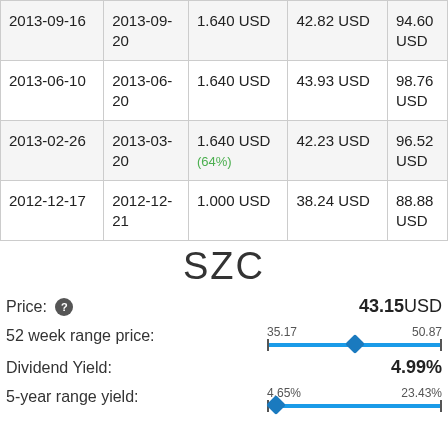| Ex-Date | Pay Date | Amount | Price | 52W High |
| --- | --- | --- | --- | --- |
| 2013-09-16 | 2013-09-20 | 1.640 USD | 42.82 USD | 94.60 USD |
| 2013-06-10 | 2013-06-20 | 1.640 USD | 43.93 USD | 98.76 USD |
| 2013-02-26 | 2013-03-20 | 1.640 USD
(64%) | 42.23 USD | 96.52 USD |
| 2012-12-17 | 2012-12-21 | 1.000 USD | 38.24 USD | 88.88 USD |
SZC
Price: ❓  43.15USD
52 week range price:  35.17  50.87
Dividend Yield:  4.99%
5-year range yield:  4.65%  23.43%